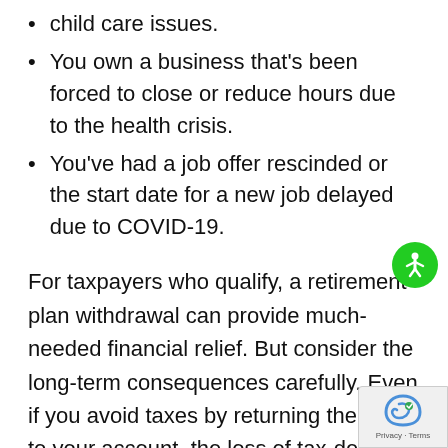You're unable to work due to COVID-19 related child care issues.
You own a business that's been forced to close or reduce hours due to the health crisis.
You've had a job offer rescinded or the start date for a new job delayed due to COVID-19.
For taxpayers who qualify, a retirement plan withdrawal can provide much-needed financial relief. But consider the long-term consequences carefully. Even if you avoid taxes by returning the funds to your account, the loss of tax-deferred growth on those funds — even for two or three years — can have a significant negative impact on your retirement nest egg.